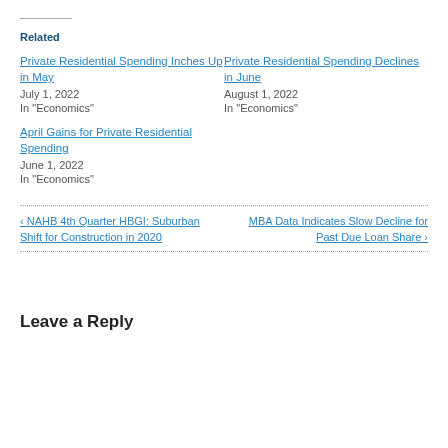Related
Private Residential Spending Inches Up in May
July 1, 2022
In "Economics"
Private Residential Spending Declines in June
August 1, 2022
In "Economics"
April Gains for Private Residential Spending
June 1, 2022
In "Economics"
‹ NAHB 4th Quarter HBGI: Suburban Shift for Construction in 2020
MBA Data Indicates Slow Decline for Past Due Loan Share ›
Leave a Reply